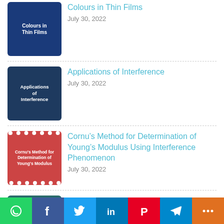[Figure (illustration): Blue thumbnail for 'Colours in Thin Films' article]
Colours in Thin Films
July 30, 2022
[Figure (illustration): Dark blue thumbnail for 'Applications of Interference' article]
Applications of Interference
July 30, 2022
[Figure (illustration): Red thumbnail for 'Cornu's Method for Determination of Young's Modulus Using Interference Phenomenon' article]
Cornu’s Method for Determination of Young’s Modulus Using Interference Phenomenon
July 30, 2022
[Figure (illustration): Teal thumbnail for 'Applications of Michelson Interferometer' article]
Applications of Michelson Interferometer
July 29, 2022
GEOGRAPHY RECENT POSTS